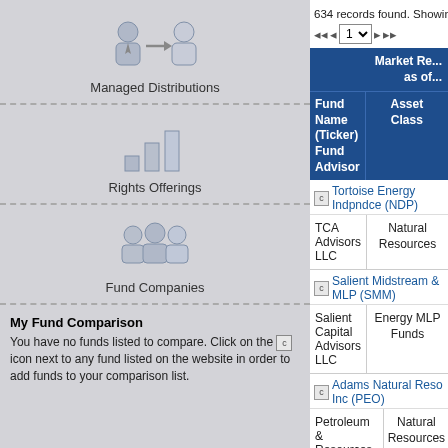[Figure (illustration): Icon of two person silhouettes with arrow between them, representing Managed Distributions navigation item]
Managed Distributions
[Figure (illustration): Bar chart icon representing Rights Offerings navigation item]
Rights Offerings
[Figure (illustration): Group of people icon representing Fund Companies navigation item]
Fund Companies
My Fund Comparison
You have no funds listed to compare. Click on the [c] icon next to any fund listed on the website in order to add funds to your comparison list.
634 records found. Showing page 1 of 26, items 1 through 25.
| Fund Name (Ticker)
Fund Advisor | Asset Class | Market Re... as of... |
| --- | --- | --- |
| Tortoise Energy Indpndce (NDP)
TCA Advisors LLC | Natural Resources |  |
| Salient Midstream & MLP (SMM)
Salient Capital Advisors LLC | Energy MLP Funds |  |
| Adams Natural Reso Inc (PEO)
Petroleum & Resources Corporation | Natural Resources |  |
| Neuberger MLP & Enrgy In (NML)
Neuberger Berman BD LLC | Energy MLP Funds |  |